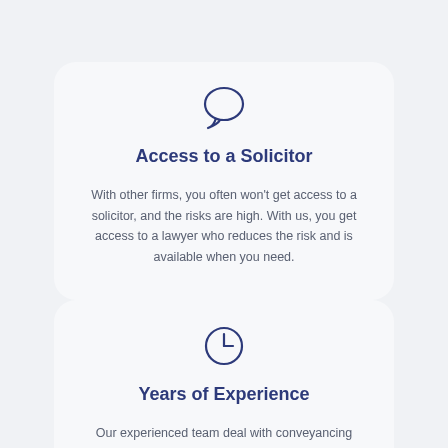[Figure (illustration): Speech bubble icon in dark blue outline style]
Access to a Solicitor
With other firms, you often won't get access to a solicitor, and the risks are high. With us, you get access to a lawyer who reduces the risk and is available when you need.
[Figure (illustration): Clock icon in dark blue outline style]
Years of Experience
Our experienced team deal with conveyancing and property matters on an everyday basis. You can have confidence